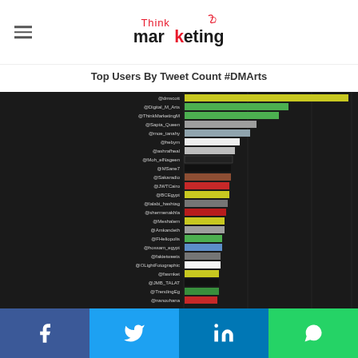Think Marketing logo with hamburger menu
Top Users By Tweet Count #DMArts
[Figure (bar-chart): Top Users By Tweet Count #DMArts]
Facebook Twitter LinkedIn WhatsApp share buttons